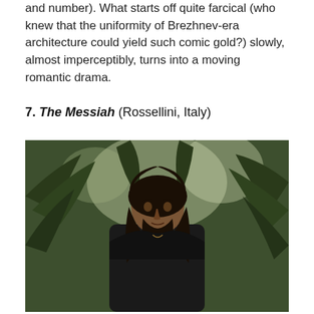and number). What starts off quite farcical (who knew that the uniformity of Brezhnev-era architecture could yield such comic gold?) slowly, almost imperceptibly, turns into a moving romantic drama.
7. The Messiah (Rossellini, Italy)
[Figure (photo): A bearded man with long dark hair wearing a dark robe over a white shirt, standing outdoors among lush green palm trees with dappled light. A still from the film The Messiah.]